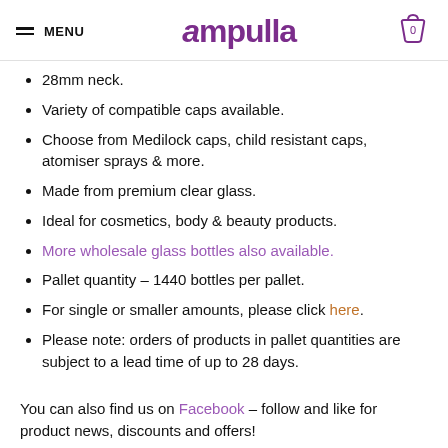MENU | Ampulla | 0
28mm neck.
Variety of compatible caps available.
Choose from Medilock caps, child resistant caps, atomiser sprays & more.
Made from premium clear glass.
Ideal for cosmetics, body & beauty products.
More wholesale glass bottles also available.
Pallet quantity – 1440 bottles per pallet.
For single or smaller amounts, please click here.
Please note: orders of products in pallet quantities are subject to a lead time of up to 28 days.
You can also find us on Facebook – follow and like for product news, discounts and offers!